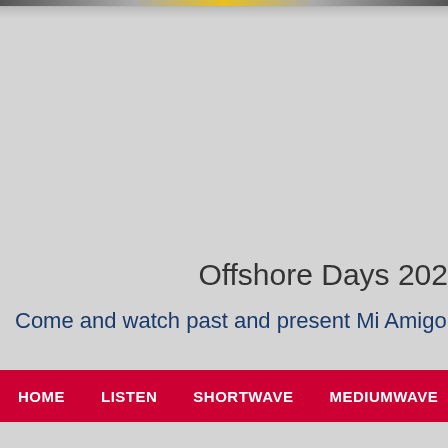[Figure (photo): Top cropped image strip showing a partial view, with yellow and grey tones]
HOME   LISTEN   SHORTWAVE   MEDIUMWAVE   FM
Offshore Days 202
Come and watch past and present Mi Amigo DJs a
[Figure (other): Grey content box with border]